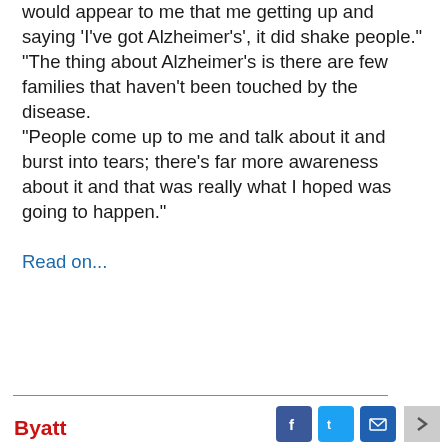would appear to me that me getting up and saying 'I've got Alzheimer's', it did shake people." "The thing about Alzheimer's is there are few families that haven't been touched by the disease. "People come up to me and talk about it and burst into tears; there's far more awareness about it and that was really what I hoped was going to happen." Read on...
Byatt